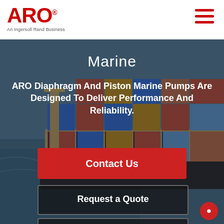[Figure (logo): ARO logo in red with registered trademark symbol and tagline 'An Ingersoll Rand Business']
[Figure (other): Red hamburger menu icon (three horizontal lines) in top right corner]
[Figure (photo): Background photo of a large container ship loaded with colorful shipping containers sailing on blue-gray ocean water, viewed from aerial/side angle]
Marine
ARO Diaphragm And Piston Marine Pumps Are Designed To Deliver Performance And Reliability.
Contact Us
Request a Quote
Request Service,